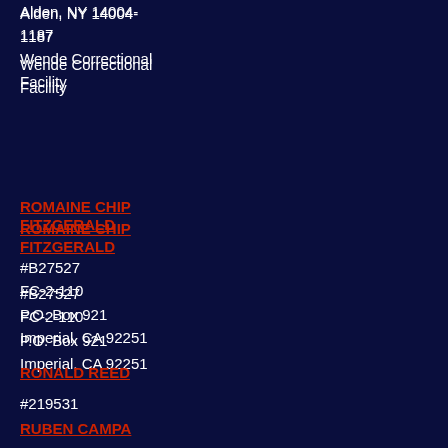Alden, NY 14004-1187
Wende Correctional Facility
ROMAINE CHIP FITZGERALD
#B27527
FC-2-110
P.O. Box 921
Imperial, CA 92251
RONALD REED
#219531
5329 Osgood Avenue North
Stillwater, Minnesota 55082-1117
RUBEN CAMPA